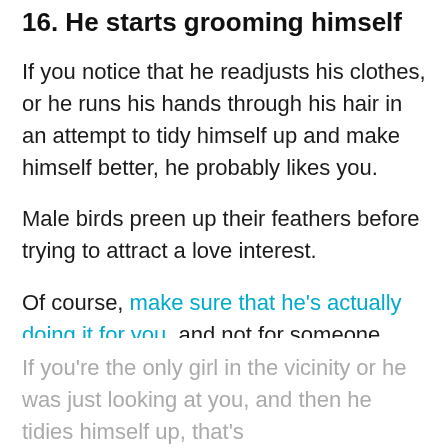16. He starts grooming himself
If you notice that he readjusts his clothes, or he runs his hands through his hair in an attempt to tidy himself up and make himself better, he probably likes you.
Male birds preen up their feathers before trying to attract a love interest.
Of course, make sure that he's actually doing it for you, and not for someone else, before you start accusing this married man of something that's not the case.
If you're the only girl in the vicinity or he was just looking at you, and then he tidies himself up, that's